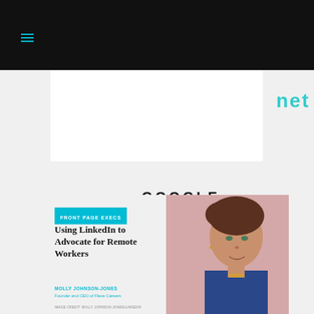[Figure (logo): GOOGLE logo displayed in bold uppercase letters with wide letter-spacing on white background]
[Figure (photo): Article card: Front Page Execs feature on Molly Johnson-Jones, Founder and CEO of Flexa Careers, with headshot photo on pink background]
Using LinkedIn to Advocate for Remote Workers
MOLLY JOHNSON-JONES
Founder and CEO of Flexa Careers
IMAGE CREDIT: MOLLY JOHNSON-JONES/LINKEDIN